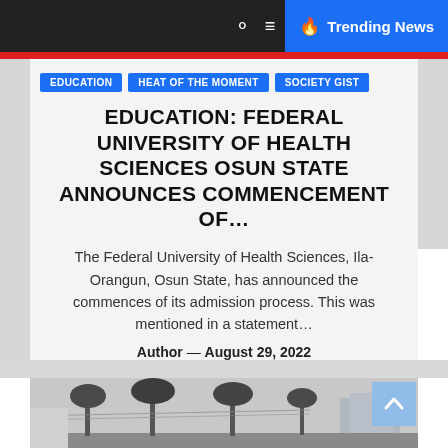Trending News
EDUCATION   HEAT OF THE MOMENT   SOCIETY GIST
EDUCATION: FEDERAL UNIVERSITY OF HEALTH SCIENCES OSUN STATE ANNOUNCES COMMENCEMENT OF…
The Federal University of Health Sciences, Ila-Orangun, Osun State, has announced the commences of its admission process. This was mentioned in a statement…
Author — August 29, 2022
READ MORE
[Figure (photo): Grayscale photo of palm trees and buildings in a Nigerian town]